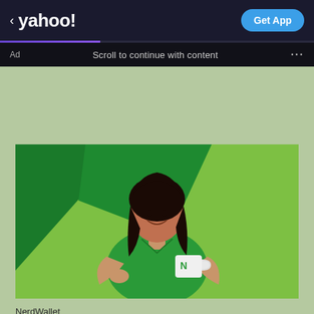< yahoo! | Get App
Ad   Scroll to continue with content   ...
[Figure (photo): NerdWallet advertisement image: a smiling woman with dark hair wearing a green shirt, holding a white mug with the NerdWallet 'N' logo, standing against a two-tone green background (light green and dark green geometric shapes).]
NerdWallet
You know football. Our Nerds know money